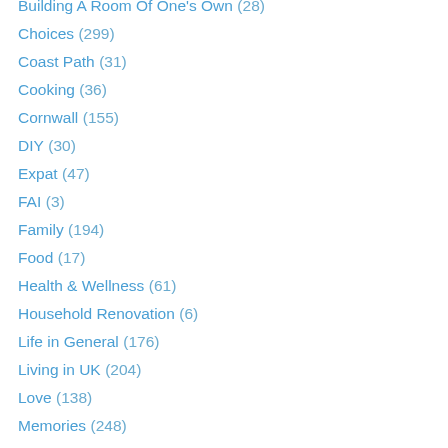Building A Room Of One's Own (28)
Choices (299)
Coast Path (31)
Cooking (36)
Cornwall (155)
DIY (30)
Expat (47)
FAI (3)
Family (194)
Food (17)
Health & Wellness (61)
Household Renovation (6)
Life in General (176)
Living in UK (204)
Love (138)
Memories (248)
Money (37)
Music (9)
One Word – Completion (42)
One Word – Encourage (87)